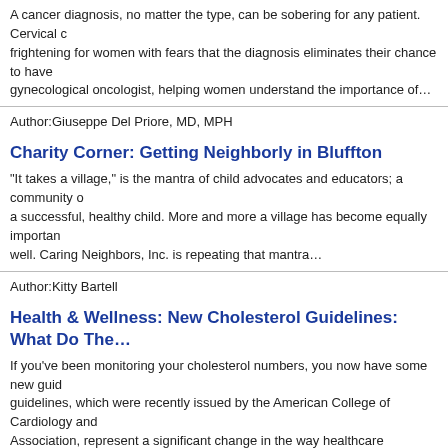A cancer diagnosis, no matter the type, can be sobering for any patient. Cervical c… frightening for women with fears that the diagnosis eliminates their chance to have… gynecological oncologist, helping women understand the importance of…
Author:Giuseppe Del Priore, MD, MPH
Charity Corner: Getting Neighborly in Bluffton
“It takes a village,” is the mantra of child advocates and educators; a community o… a successful, healthy child. More and more a village has become equally importan… well. Caring Neighbors, Inc. is repeating that mantra…
Author:Kitty Bartell
Health & Wellness: New Cholesterol Guidelines: What Do The…
If you've been monitoring your cholesterol numbers, you now have some new guid… guidelines, which were recently issued by the American College of Cardiology and… Association, represent a significant change in the way healthcare providers treat c…
Author:William E. Kyle, D.O
Très Chic at Gigi's
Photography by Anne // Styled by Kim Molloy // Design by Kelly Stroud // Hair and… Clothes from GIgi's Boutique in old town bluffton // Model: Andresa Eady of Halo ta…